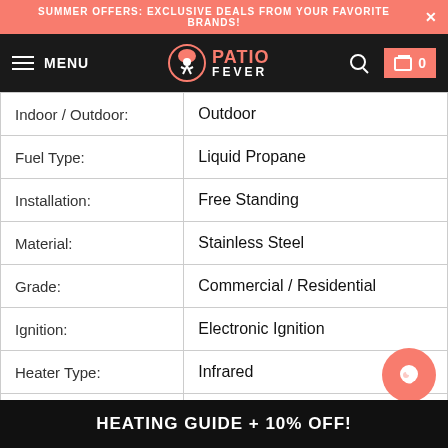SUMMER OFFERS: EXCLUSIVE DEALS FROM YOUR FAVORITE BRANDS!
[Figure (logo): Patio Fever logo with navigation bar including menu, search, and cart icons on black background]
| Indoor / Outdoor: | Outdoor |
| Fuel Type: | Liquid Propane |
| Installation: | Free Standing |
| Material: | Stainless Steel |
| Grade: | Commercial / Residential |
| Ignition: | Electronic Ignition |
| Heater Type: | Infrared |
| Heating Area: | 20 ft. Diameter |
| Avg Burn Time: | 10 hours |
| BTUs: | 38,000 |
HEATING GUIDE + 10% OFF!